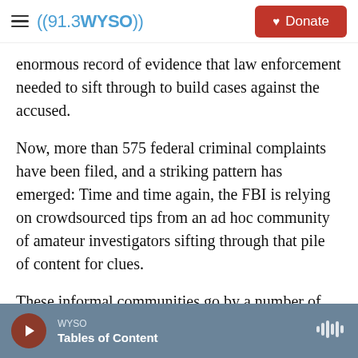((91.3 WYSO))  Donate
enormous record of evidence that law enforcement needed to sift through to build cases against the accused.
Now, more than 575 federal criminal complaints have been filed, and a striking pattern has emerged: Time and time again, the FBI is relying on crowdsourced tips from an ad hoc community of amateur investigators sifting through that pile of content for clues.
These informal communities go by a number of names: Some go by the moniker Sedition Hunters.
WYSO  Tables of Content